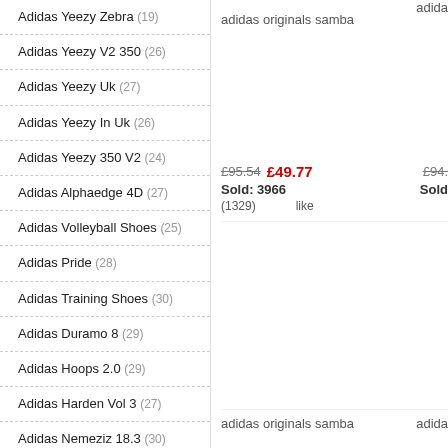Adidas Yeezy Zebra (19)
Adidas Yeezy V2 350 (26)
Adidas Yeezy Uk (27)
Adidas Yeezy In Uk (26)
Adidas Yeezy 350 V2 (24)
Adidas Alphaedge 4D (27)
Adidas Volleyball Shoes (25)
Adidas Pride (28)
Adidas Training Shoes (30)
Adidas Duramo 8 (29)
Adidas Hoops 2.0 (29)
Adidas Harden Vol 3 (27)
Adidas Nemeziz 18.3 (30)
Adidas Night Jogger (29)
Adidas Handball Spezial (29)
adidas originals samba
£95.54  £49.77  £94.
Sold: 3966  Sold
(1329)  like
adidas originals samba  adida